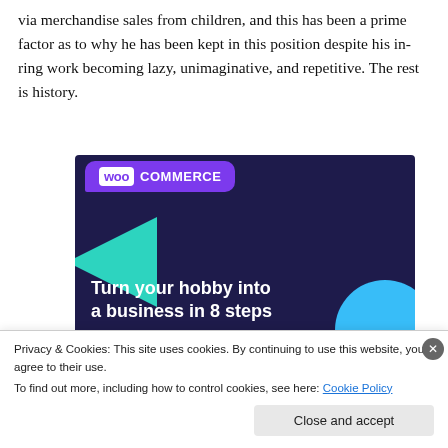via merchandise sales from children, and this has been a prime factor as to why he has been kept in this position despite his in-ring work becoming lazy, unimaginative, and repetitive. The rest is history.
[Figure (illustration): WooCommerce advertisement banner with dark purple/navy background, purple speech-bubble logo top-left reading 'woo COMMERCE', teal triangle shape on left, cyan circle on right, and bold white text: 'Turn your hobby into a business in 8 steps']
Privacy & Cookies: This site uses cookies. By continuing to use this website, you agree to their use.
To find out more, including how to control cookies, see here: Cookie Policy